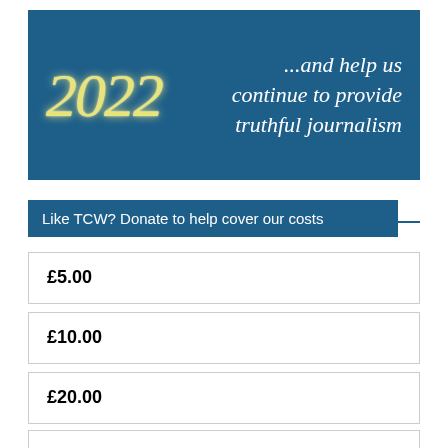[Figure (illustration): Dark blue banner with yellow italic '2022' on the left and white italic text '...and help us continue to provide truthful journalism' on the right]
Like TCW? Donate to help cover our costs
£5.00
£10.00
£20.00
£100.00